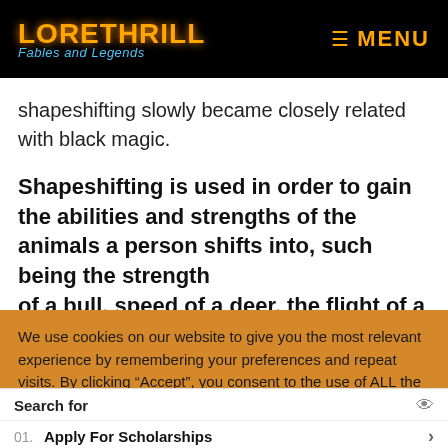LORETHRILL Fables and Legends — MENU
shapeshifting slowly became closely related with black magic.
Shapeshifting is used in order to gain the abilities and strengths of the animals a person shifts into, such being the strength of a bull, speed of a deer, the flight of a...
We use cookies on our website to give you the most relevant experience by remembering your preferences and repeat visits. By clicking “Accept”, you consent to the use of ALL the cookies.
Search for
01. Apply For Scholarships
02. Bank Owned Cars For Sale
Yahoo! Search | Sponsored